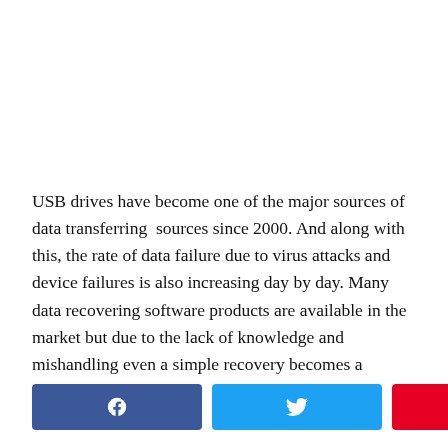USB drives have become one of the major sources of data transferring  sources since 2000. And along with this, the rate of data failure due to virus attacks and device failures is also increasing day by day. Many data recovering software products are available in the market but due to the lack of knowledge and mishandling even a simple recovery becomes a nightmare for the user.